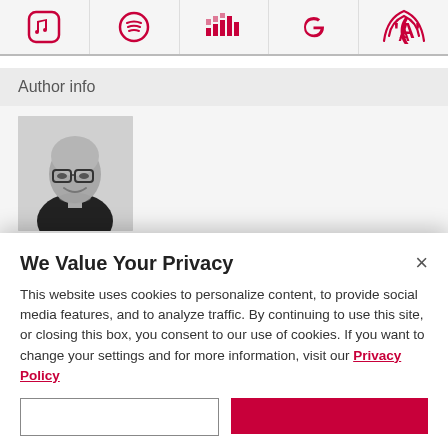[Figure (infographic): Row of five music/streaming service icons in red: Apple Music (note), Spotify (circle with lines), Deezer (bars), Google (G), and AT&T ('A' with signal)]
Author info
[Figure (photo): Black and white headshot photo of a bald man wearing glasses and a dark shirt, smiling]
We Value Your Privacy
This website uses cookies to personalize content, to provide social media features, and to analyze traffic. By continuing to use this site, or closing this box, you consent to our use of cookies. If you want to change your settings and for more information, visit our Privacy Policy